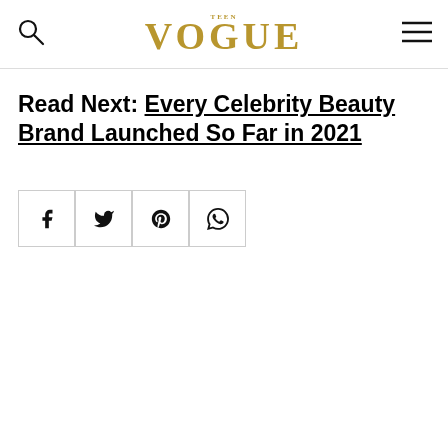VOGUE
Read Next: Every Celebrity Beauty Brand Launched So Far in 2021
[Figure (infographic): Social share buttons: Facebook, Twitter, Pinterest, WhatsApp]